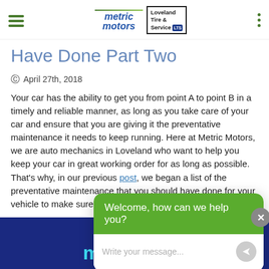metric motors | Loveland Tire & Service LTS
Have Done Part Two
April 27th, 2018
Your car has the ability to get you from point A to point B in a timely and reliable manner, as long as you take care of your car and ensure that you are giving it the preventative maintenance it needs to keep running. Here at Metric Motors, we are auto mechanics in Loveland who want to help you keep your car in great working order for as long as possible. That's why, in our previous post, we began a list of the preventative maintenance that you should have done for your vehicle to make sure it will run for you mainter
[Figure (screenshot): Chat widget overlay with green header reading 'Welcome, how can we help you?' and a text input area reading 'Write your message...' with a send button]
mechanic?